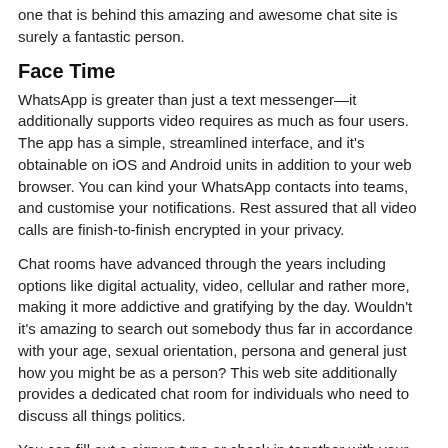one that is behind this amazing and awesome chat site is surely a fantastic person.
Face Time
WhatsApp is greater than just a text messenger—it additionally supports video requires as much as four users. The app has a simple, streamlined interface, and it's obtainable on iOS and Android units in addition to your web browser. You can kind your WhatsApp contacts into teams, and customise your notifications. Rest assured that all video calls are finish-to-finish encrypted in your privacy.
Chat rooms have advanced through the years including options like digital actuality, video, cellular and rather more, making it more addictive and gratifying by the day. Wouldn't it's amazing to search out somebody thus far in accordance with your age, sexual orientation, persona and general just how you might be as a person? This web site additionally provides a dedicated chat room for individuals who need to discuss all things politics.
You can fill out a signup type or check in together with your Facebook account, and chat with folks of diverse backgrounds instantly. Instantly connect with one other stranger when you finish chat with one. Connect